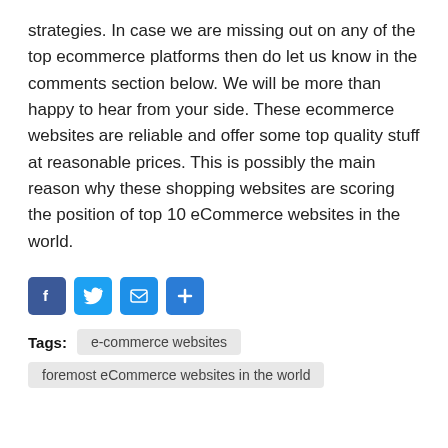strategies. In case we are missing out on any of the top ecommerce platforms then do let us know in the comments section below. We will be more than happy to hear from your side. These ecommerce websites are reliable and offer some top quality stuff at reasonable prices. This is possibly the main reason why these shopping websites are scoring the position of top 10 eCommerce websites in the world.
[Figure (other): Social share buttons: Facebook (blue), Twitter (blue), Email (blue envelope), Plus/Share (blue plus sign)]
Tags: e-commerce websites | foremost eCommerce websites in the world